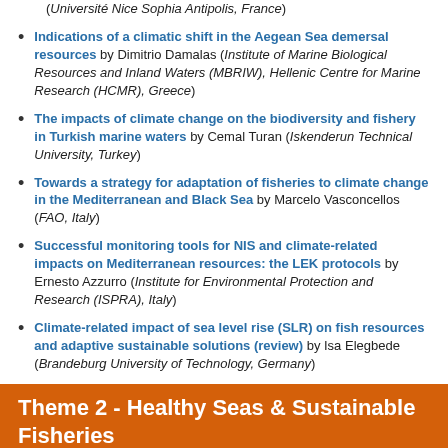Indications of a climatic shift in the Aegean Sea demersal resources by Dimitrio Damalas (Institute of Marine Biological Resources and Inland Waters (MBRIW), Hellenic Centre for Marine Research (HCMR), Greece)
The impacts of climate change on the biodiversity and fishery in Turkish marine waters by Cemal Turan (Iskenderun Technical University, Turkey)
Towards a strategy for adaptation of fisheries to climate change in the Mediterranean and Black Sea by Marcelo Vasconcellos (FAO, Italy)
Successful monitoring tools for NIS and climate-related impacts on Mediterranean resources: the LEK protocols by Ernesto Azzurro (Institute for Environmental Protection and Research (ISPRA), Italy)
Climate-related impact of sea level rise (SLR) on fish resources and adaptive sustainable solutions (review) by Isa Elegbede (Brandeburg University of Technology, Germany)
Theme 2 - Healthy Seas & Sustainable Fisheries